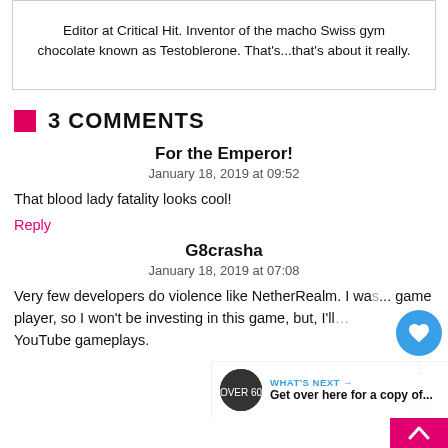Editor at Critical Hit. Inventor of the macho Swiss gym chocolate known as Testoblerone. That's...that's about it really.
3 COMMENTS
For the Emperor!
January 18, 2019 at 09:52
That blood lady fatality looks cool!
Reply
G8crasha
January 18, 2019 at 07:08
Very few developers do violence like NetherRealm. I wa… game player, so I won't be investing in this game, but, I'll… YouTube gameplays.